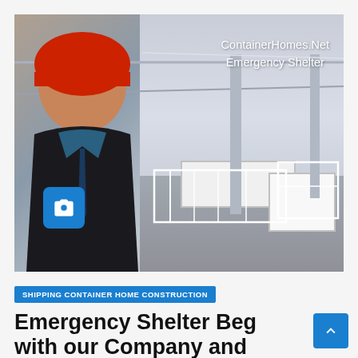[Figure (photo): A man wearing a red hard hat and a dark blazer over a blue shirt takes a selfie in a large factory or warehouse. In the background, white container/shelter structures are being assembled on the factory floor. A blue camera icon badge appears at the bottom-left of the image. White watermark text in the upper-right reads 'ContainerHomes.Net Emergency Shelter'.]
SHIPPING CONTAINER HOME CONSTRUCTION
Emergency Shelter Production Begins with our Company and China